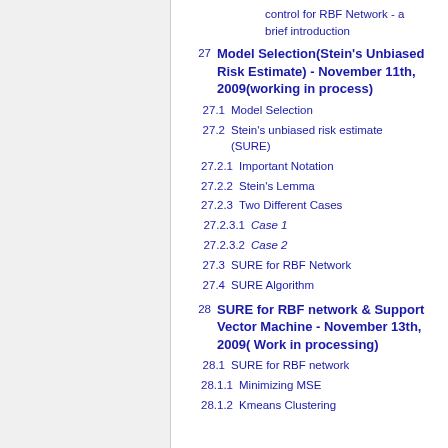control for RBF Network - a brief introduction
27   Model Selection(Stein's Unbiased Risk Estimate) - November 11th, 2009(working in process)
27.1   Model Selection
27.2   Stein's unbiased risk estimate (SURE)
27.2.1   Important Notation
27.2.2   Stein's Lemma
27.2.3   Two Different Cases
27.2.3.1   Case 1
27.2.3.2   Case 2
27.3   SURE for RBF Network
27.4   SURE Algorithm
28   SURE for RBF network & Support Vector Machine - November 13th, 2009( Work in processing)
28.1   SURE for RBF network
28.1.1   Minimizing MSE
28.1.2   Kmeans Clustering